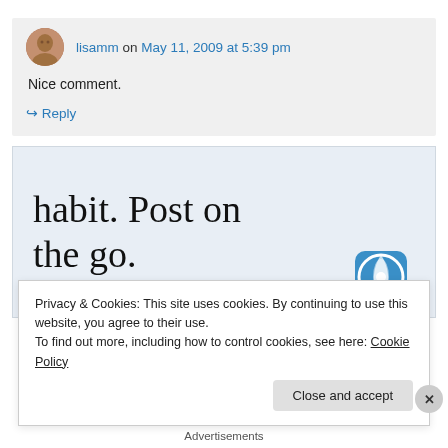lisamm on May 11, 2009 at 5:39 pm
Nice comment.
↳ Reply
[Figure (advertisement): WordPress advertisement banner with text 'habit. Post on the go.' and 'GET THE APP' with WordPress logo]
Privacy & Cookies: This site uses cookies. By continuing to use this website, you agree to their use.
To find out more, including how to control cookies, see here: Cookie Policy
Close and accept
Advertisements